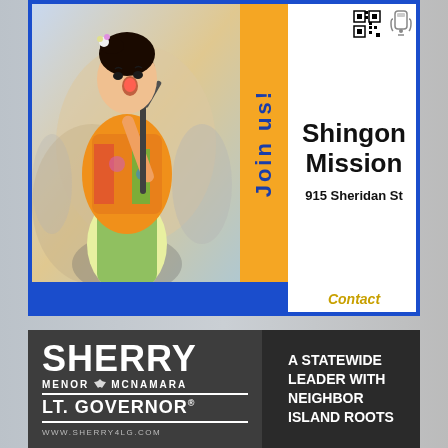[Figure (infographic): Shingon Mission advertisement with photo of person in colorful kimono playing instrument, orange vertical bar with 'Join us!' text, QR code, and contact information. 915 Sheridan St, madokanokai.hi@gmail.com]
Shingon Mission
915 Sheridan St
Contact
madokanokai.hi @gmail.com
[Figure (infographic): Sherry Menor McNamara Lt. Governor campaign advertisement. Left side dark gray with 'SHERRY MENOR McNAMARA LT. GOVERNOR WWW.SHERRY4LG.COM', right side darker with 'A STATEWIDE LEADER WITH NEIGHBOR ISLAND ROOTS']
SHERRY
MENOR McNAMARA
LT. GOVERNOR
WWW.SHERRY4LG.COM
A STATEWIDE LEADER WITH NEIGHBOR ISLAND ROOTS